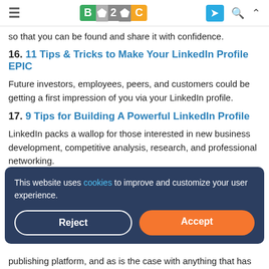B2C [logo] [icons]
so that you can be found and share it with confidence.
16. 11 Tips & Tricks to Make Your LinkedIn Profile EPIC
Future investors, employees, peers, and customers could be getting a first impression of you via your LinkedIn profile.
17. 9 Tips for Building A Powerful LinkedIn Profile
LinkedIn packs a wallop for those interested in new business development, competitive analysis, research, and professional networking.
This website uses cookies to improve and customize your user experience.
publishing platform, and as is the case with anything that has